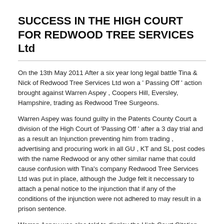SUCCESS IN THE HIGH COURT FOR REDWOOD TREE SERVICES Ltd
On the 13th May 2011 After a six year long legal battle Tina & Nick of Redwood Tree Services Ltd won a ' Passing Off ' action brought against Warren Aspey , Coopers Hill, Eversley, Hampshire, trading as Redwood Tree Surgeons.
Warren Aspey was found guilty in the Patents County Court a division of the High Court of 'Passing Off ' after a 3 day trial and as a result an Injunction preventing him from trading , advertising and procuring work in all GU , KT and SL post codes with the name Redwood or any other similar name that could cause confusion with Tina's company Redwood Tree Services Ltd was put in place, although the Judge felt it neccessary to attach a penal notice to the injunction that if any of the conditions of the injunction were not adhered to may result in a prison sentence.
Warren Aspey was also told to display the High Court Citation